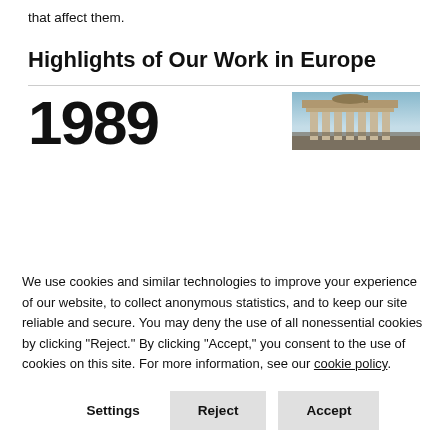that affect them.
Highlights of Our Work in Europe
1989
[Figure (photo): Historical photo of the Brandenburg Gate with crowds, 1989]
We use cookies and similar technologies to improve your experience of our website, to collect anonymous statistics, and to keep our site reliable and secure. You may deny the use of all nonessential cookies by clicking “Reject.” By clicking “Accept,” you consent to the use of cookies on this site. For more information, see our cookie policy.
Settings
Reject
Accept